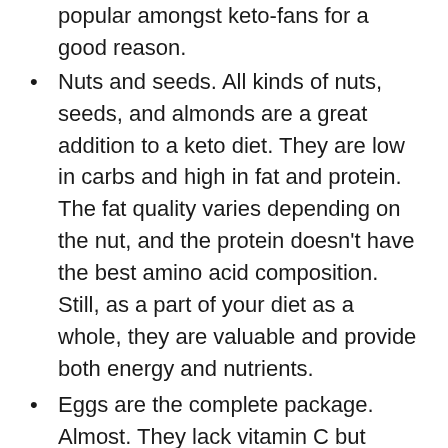popular amongst keto-fans for a good reason.
Nuts and seeds. All kinds of nuts, seeds, and almonds are a great addition to a keto diet. They are low in carbs and high in fat and protein. The fat quality varies depending on the nut, and the protein doesn’t have the best amino acid composition. Still, as a part of your diet as a whole, they are valuable and provide both energy and nutrients.
Eggs are the complete package. Almost. They lack vitamin C but provide you with most other nutrients you need for building muscle. Perfect both as a main dish and in cooking.
Dairy products. Milk, cottage cheese...